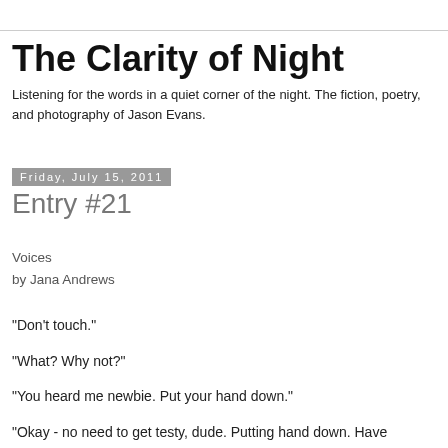The Clarity of Night
Listening for the words in a quiet corner of the night. The fiction, poetry, and photography of Jason Evans.
Friday, July 15, 2011
Entry #21
Voices
by Jana Andrews
"Don't touch."
"What? Why not?"
"You heard me newbie. Put your hand down."
"Okay - no need to get testy, dude. Putting hand down. Have